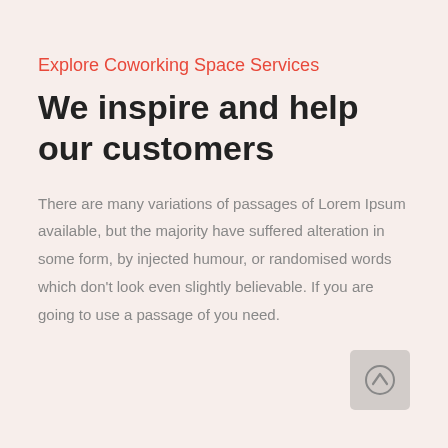Explore Coworking Space Services
We inspire and help our customers
There are many variations of passages of Lorem Ipsum available, but the majority have suffered alteration in some form, by injected humour, or randomised words which don't look even slightly believable. If you are going to use a passage of you need.
[Figure (illustration): A circular scroll-to-top button icon with an upward-pointing chevron arrow, displayed in a rounded square light grey tile in the bottom-right corner.]